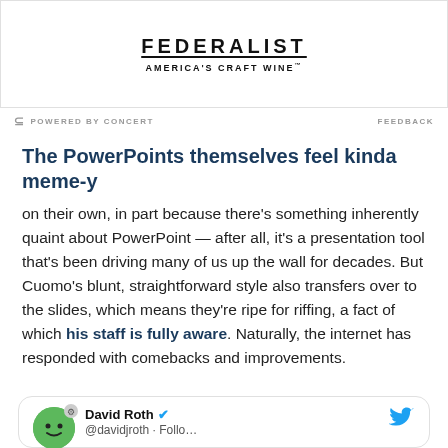[Figure (logo): FEDERALIST America's Craft Wine advertisement banner]
POWERED BY CONCERT   FEEDBACK
The PowerPoints themselves feel kinda meme-y
on their own, in part because there's something inherently quaint about PowerPoint — after all, it's a presentation tool that's been driving many of us up the wall for decades. But Cuomo's blunt, straightforward style also transfers over to the slides, which means they're ripe for riffing, a fact of which his staff is fully aware. Naturally, the internet has responded with comebacks and improvements.
[Figure (screenshot): Tweet by David Roth (verified) with Twitter bird icon]